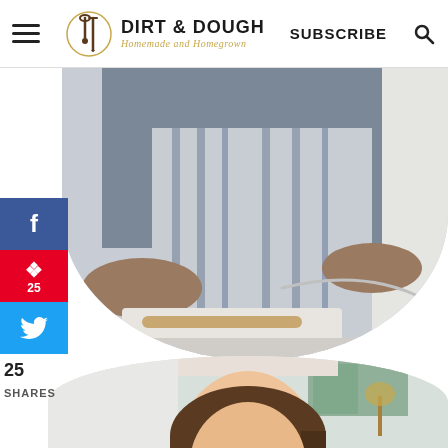Dirt & Dough — Homemade and Homegrown
[Figure (photo): Person wearing an apron in a kitchen, holding a rolling pin and a glass bowl, torso only visible, cropped in a half-circle shape]
[Figure (infographic): Social media sharing sidebar with Facebook (f), Pinterest (p, 25 saves), and Twitter buttons]
25
SHARES
[Figure (photo): Woman smiling in a bright kitchen, shown in a half-circle cropped photo, green foliage visible in background window]